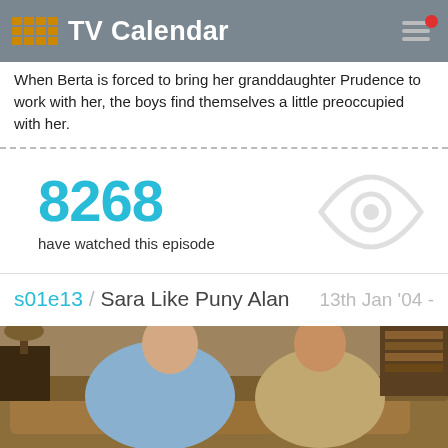TV Calendar
When Berta is forced to bring her granddaughter Prudence to work with her, the boys find themselves a little preoccupied with her.
8268 have watched this episode
s01e13 / Sara Like Puny Alan  13th Jan '04 -
[Figure (photo): Two men sitting on a couch, one wrapped in a blue blanket, the other in a tan blanket, from a TV sitcom scene.]